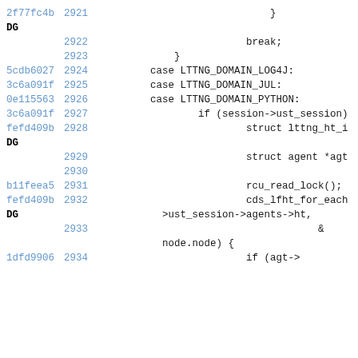Code diff viewer showing lines 2921-2934 of a C source file with git blame hashes
2f77fc4b 2921     }
DG
2922         break;
2923     }
5cdb6027 2924         case LTTNG_DOMAIN_LOG4J:
3c6a091f 2925         case LTTNG_DOMAIN_JUL:
0e115563 2926         case LTTNG_DOMAIN_PYTHON:
3c6a091f 2927             if (session->ust_session)
fefd409b 2928                 struct lttng_ht_i
DG
2929                 struct agent *agt
2930
b11feea5 2931                 rcu_read_lock();
fefd409b 2932                 cds_lfht_for_each
DG         >ust_session->agents->ht,
2933                 &
node.node) {
1dfd9906 2934                 if (agt->